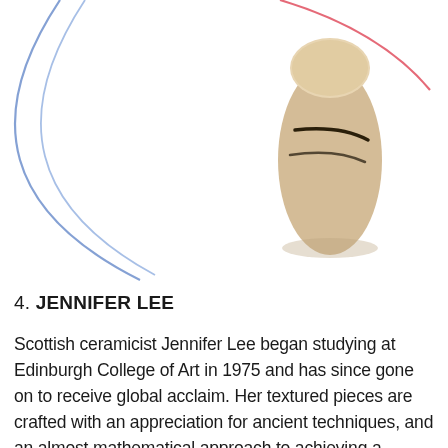[Figure (photo): A ceramic vessel (tall, narrow, ovoid shape with dark linear markings) photographed against a white background, with decorative blue curved lines (large arc) and a red curved line partially visible in the upper portion of the image.]
4. JENNIFER LEE
Scottish ceramicist Jennifer Lee began studying at Edinburgh College of Art in 1975 and has since gone on to receive global acclaim. Her textured pieces are crafted with an appreciation for ancient techniques, and an almost mathematical approach to achieving a meticulous, unpredictable asymmetry. Lee uses neither glazes nor a wheel, just age-old craft processes and basic elemental materials: clay, water & oxides.